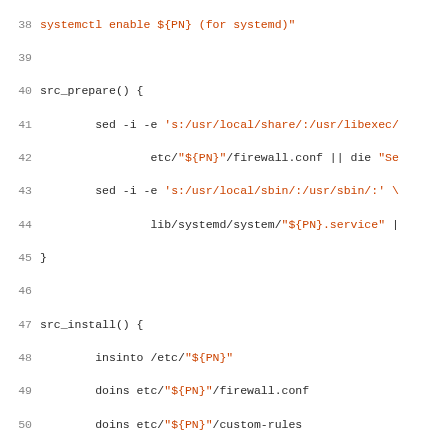Source code listing lines 38-67 of a Gentoo ebuild script